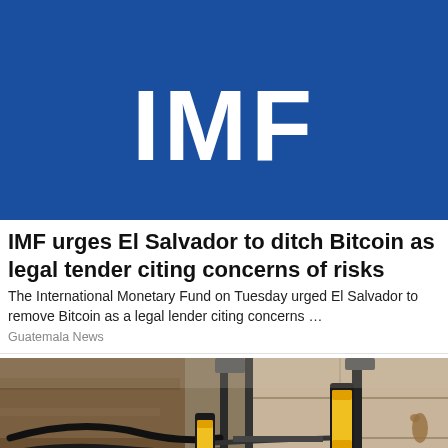[Figure (logo): IMF logo — large white bold letters 'IMF' on a blue background banner]
IMF urges El Salvador to ditch Bitcoin as legal tender citing concerns of risks
The International Monetary Fund on Tuesday urged El Salvador to remove Bitcoin as a legal lender citing concerns …
Guatemala News
[Figure (photo): Construction photo showing hydraulic or mechanical tools/equipment with yellow and black coloring attached to a concrete wall, with soil/dirt excavation on the left side and black cables visible.]